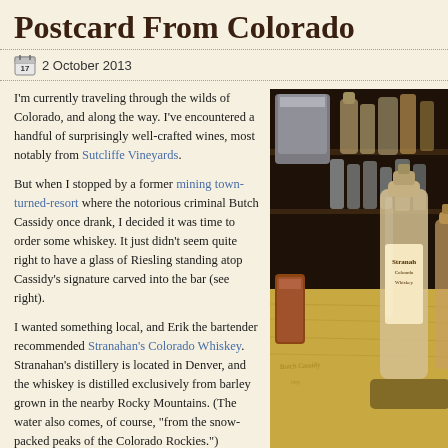Postcard From Colorado
2 October 2013
I'm currently traveling through the wilds of Colorado, and along the way. I've encountered a handful of surprisingly well-crafted wines, most notably from Sutcliffe Vineyards.
But when I stopped by a former mining town-turned-resort where the notorious criminal Butch Cassidy once drank, I decided it was time to order some whiskey. It just didn't seem quite right to have a glass of Riesling standing atop Cassidy's signature carved into the bar (see right).
I wanted something local, and Erik the bartender recommended Stranahan's Colorado Whiskey. Stranahan's distillery is located in Denver, and the whiskey is distilled exclusively from barley grown in the nearby Rocky Mountains. (The water also comes, of course, "from the snow-packed peaks of the Colorado Rockies.")
Sampled neat, the whiskey had an appealing nose of corn and vanilla, but a generally dry character. It started smooth and oaky, followed by a blast of rowdy spice and a fascinating herbaceous and slightly bitter
[Figure (photo): Photo of a Stranahan's Colorado Whiskey bottle and other bar items on a wooden bar surface, taken inside a rustic bar setting with shelves of bottles in the background.]